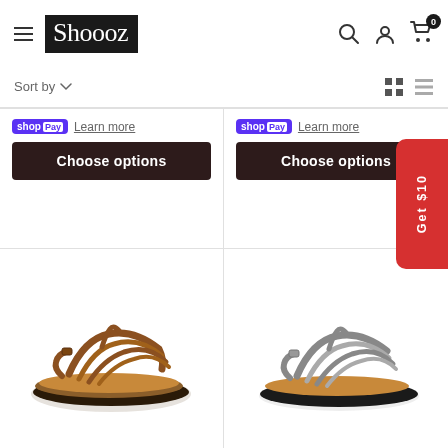Shoooz - navigation header with hamburger menu, logo, search, account, and cart icons
Sort by
[Figure (screenshot): Shop Pay badge with 'Learn more' link and Choose options button for product 1]
[Figure (screenshot): Shop Pay badge with 'Learn more' link and Choose options button for product 2]
[Figure (photo): Brown leather strappy sandal]
[Figure (photo): Gray/silver strappy sandal]
Get $10